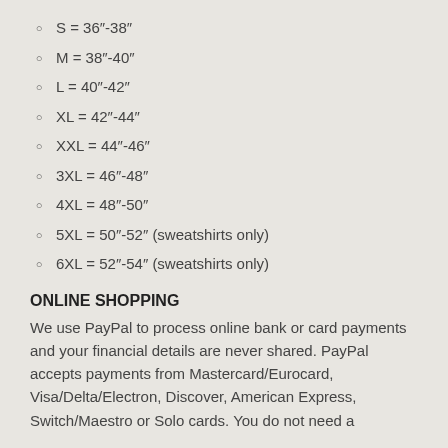S = 36"-38"
M = 38"-40"
L = 40"-42"
XL = 42"-44"
XXL = 44"-46"
3XL = 46"-48"
4XL = 48"-50"
5XL = 50"-52" (sweatshirts only)
6XL = 52"-54" (sweatshirts only)
ONLINE SHOPPING
We use PayPal to process online bank or card payments and your financial details are never shared. PayPal accepts payments from Mastercard/Eurocard, Visa/Delta/Electron, Discover, American Express, Switch/Maestro or Solo cards. You do not need a